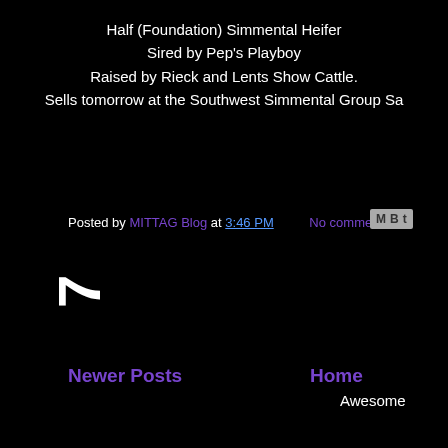Half (Foundation) Simmental Heifer
Sired by Pep's Playboy
Raised by Rieck and Lents Show Cattle.
Sells tomorrow at the Southwest Simmental Group Sa
Posted by MITTAG Blog at 3:46 PM   No comments:
7
Newer Posts
Home
W
o
Subscribe to: Posts (Atom)
Awesome